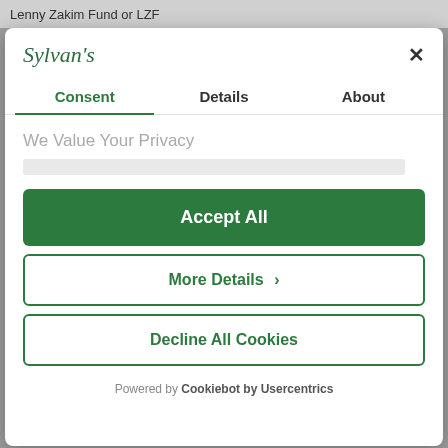Lenny Zakim Fund  or LZF
[Figure (screenshot): Sylvan's cookie consent modal dialog with tabs for Consent, Details, and About. Contains Accept All button (green filled), More Details button (green outline with chevron), and Decline All Cookies button (green outline). Footer shows Powered by Cookiebot by Usercentrics.]